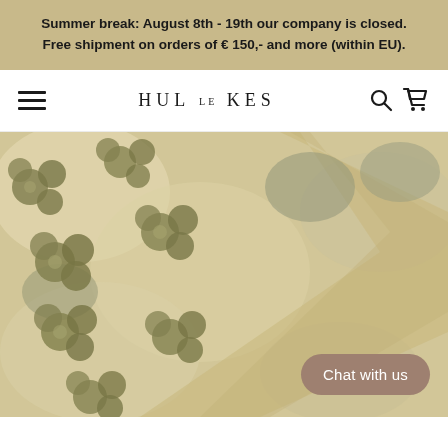Summer break: August 8th - 19th our company is closed. Free shipment on orders of € 150,- and more (within EU).
HUL LE KES
[Figure (photo): Close-up photo of a textile/rug with a floral pattern in olive green, sage, cream and tan tones. The fabric shows detailed flower motifs with a diagonal stripe or band running through it.]
Chat with us